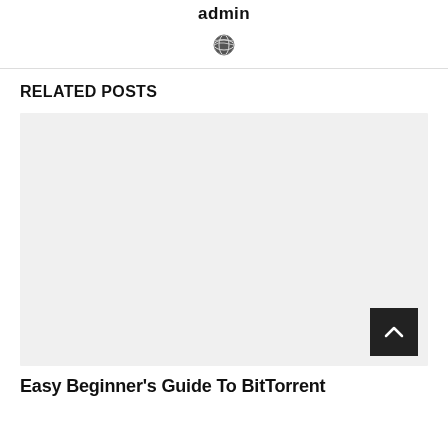admin
[Figure (illustration): Globe/world icon in dark gray]
RELATED POSTS
[Figure (photo): Large light gray placeholder image for a related post]
Easy Beginner's Guide To BitTorrent